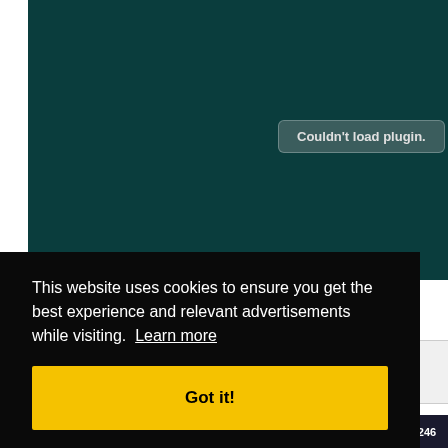[Figure (screenshot): Dark teal plugin area showing 'Couldn't load plugin.' error button in center]
This website uses cookies to ensure you get the best experience and relevant advertisements while visiting. Learn more
Got it!
#246
forthwrite